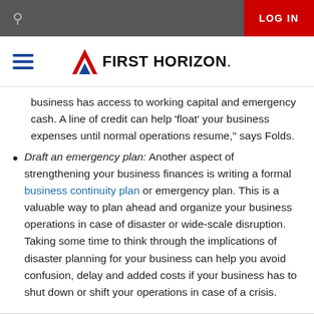LOG IN
[Figure (logo): First Horizon bank logo with hamburger menu icon]
business has access to working capital and emergency cash. A line of credit can help 'float' your business expenses until normal operations resume," says Folds.
Draft an emergency plan: Another aspect of strengthening your business finances is writing a formal business continuity plan or emergency plan. This is a valuable way to plan ahead and organize your business operations in case of disaster or wide-scale disruption. Taking some time to think through the implications of disaster planning for your business can help you avoid confusion, delay and added costs if your business has to shut down or shift your operations in case of a crisis.